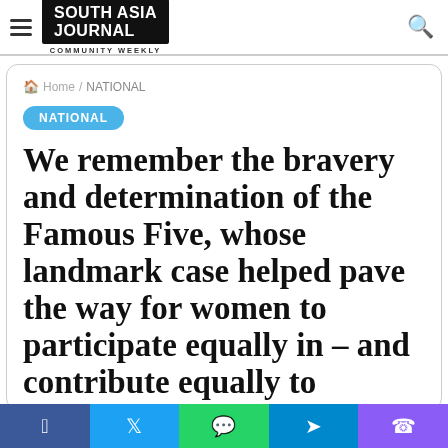South Asia Journal — Community Weekly
Home / NATIONAL
NATIONAL
We remember the bravery and determination of the Famous Five, whose landmark case helped pave the way for women to participate equally in – and contribute equally to